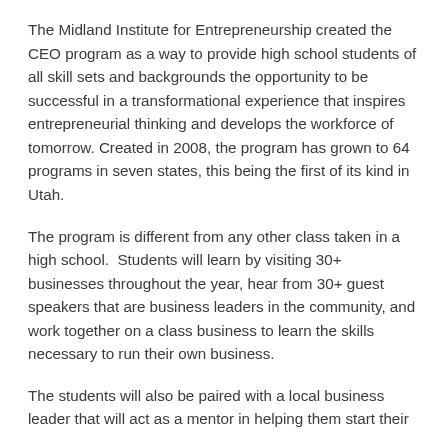The Midland Institute for Entrepreneurship created the CEO program as a way to provide high school students of all skill sets and backgrounds the opportunity to be successful in a transformational experience that inspires entrepreneurial thinking and develops the workforce of tomorrow. Created in 2008, the program has grown to 64 programs in seven states, this being the first of its kind in Utah.
The program is different from any other class taken in a high school.  Students will learn by visiting 30+ businesses throughout the year, hear from 30+ guest speakers that are business leaders in the community, and work together on a class business to learn the skills necessary to run their own business.
The students will also be paired with a local business leader that will act as a mentor in helping them start their